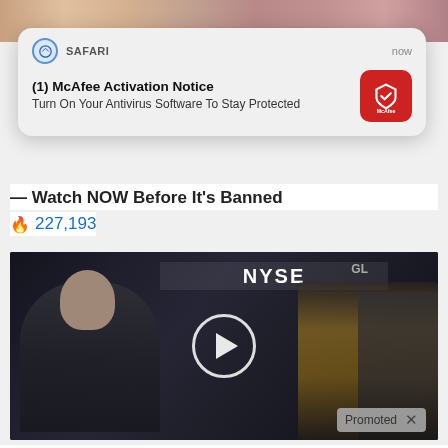[Figure (screenshot): Top strip showing partial faces/photos in background]
[Figure (screenshot): iOS Safari push notification popup: '(1) McAfee Activation Notice - Turn On Your Antivirus Software To Stay Protected' with McAfee red icon]
— Watch NOW Before It's Banned
🔥 227,193
[Figure (screenshot): Video thumbnail showing NYSE trading floor with a man in a suit, play button overlay, and 'Promoted X' badge]
[Figure (photo): Cruise ship aerial thumbnail]
Cruise Ship Reality – Actual Pictures Will Make You Think Twice Before Booking
🔥 13,014
[Figure (photo): Spices/food thumbnail with woman]
A Teaspoon On An Empty Stomach Burns Fat Like Crazy!
🔥 150,336